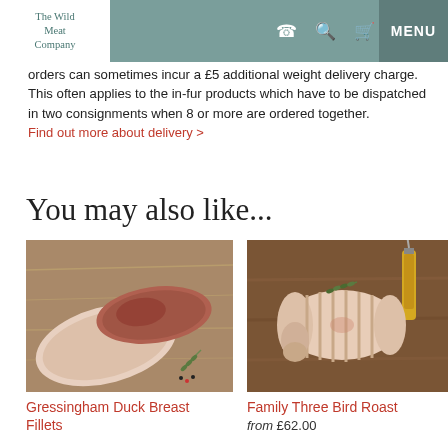The Wild Meat Company | MENU
orders can sometimes incur a £5 additional weight delivery charge. This often applies to the in-fur products which have to be dispatched in two consignments when 8 or more are ordered together. Find out more about delivery >
You may also like...
[Figure (photo): Raw Gressingham duck breast fillets on a rustic wooden surface with herbs]
Gressingham Duck Breast Fillets
[Figure (photo): Family Three Bird Roast — a rolled, trussed pale poultry roast on a wooden chopping board with a yellow-handled knife, garnished with rosemary]
Family Three Bird Roast
from £62.00